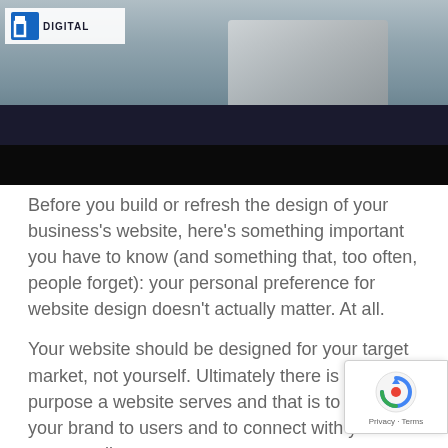[Figure (photo): Header photo showing a person typing on a laptop, with a logo overlay in the top-left corner reading 'DIGITAL'. A black bar appears below the photo.]
Before you build or refresh the design of your business’s website, here’s something important you have to know (and something that, too often, people forget): your personal preference for website design doesn’t actually matter. At all.
Your website should be designed for your target market, not yourself. Ultimately there is one purpose a website serves and that is to bring your brand to users and to connect with your target audience.
Trust us: very, very rarely do we at Brilliant